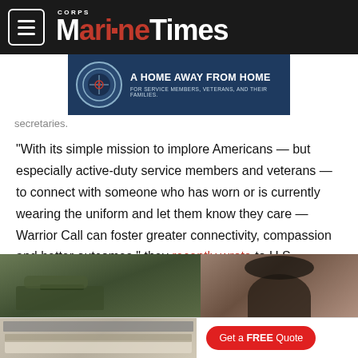Marine Corps Times
[Figure (infographic): Advertisement banner: A Home Away From Home - For Service Members, Veterans, and Their Families. Features a circular seal/logo on dark navy background.]
secretaries.
“With its simple mission to implore Americans — but especially active-duty service members and veterans — to connect with someone who has worn or is currently wearing the uniform and let them know they care — Warrior Call can foster greater connectivity, compassion and better outcomes,” they recently wrote to U.S. lawmakers.
[Figure (photo): Photo strip showing military vehicle/tank on left and a person's back of head on right.]
[Figure (infographic): Bottom advertisement showing kitchen interior on left and a red 'Get a FREE Quote' button on right.]